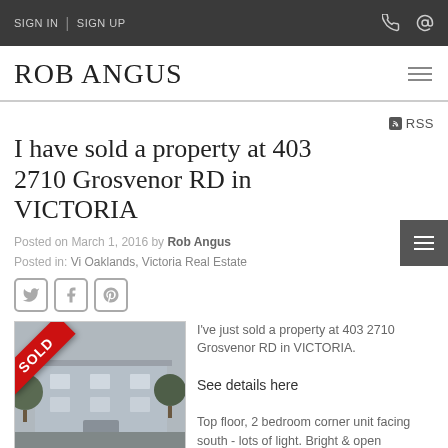SIGN IN | SIGN UP
ROB ANGUS
RSS
I have sold a property at 403 2710 Grosvenor RD in VICTORIA
Posted on March 1, 2016 by Rob Angus
Posted in: Vi Oaklands, Victoria Real Estate
[Figure (photo): Property photo with SOLD ribbon overlay showing apartment building exterior]
I've just sold a property at 403 2710 Grosvenor RD in VICTORIA.

See details here

Top floor, 2 bedroom corner unit facing south - lots of light. Bright & open